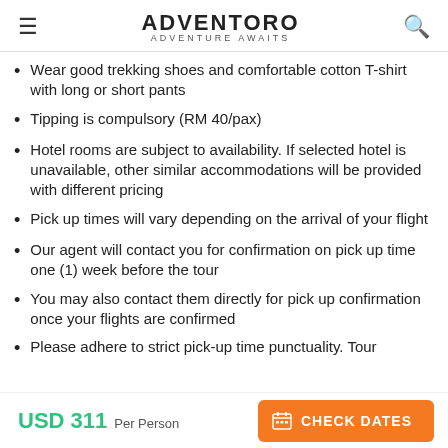ADVENTORO — ADVENTURE AWAITS
Wear good trekking shoes and comfortable cotton T-shirt with long or short pants
Tipping is compulsory (RM 40/pax)
Hotel rooms are subject to availability. If selected hotel is unavailable, other similar accommodations will be provided with different pricing
Pick up times will vary depending on the arrival of your flight
Our agent will contact you for confirmation on pick up time one (1) week before the tour
You may also contact them directly for pick up confirmation once your flights are confirmed
Please adhere to strict pick-up time punctuality. Tour
USD 311 Per Person  CHECK DATES